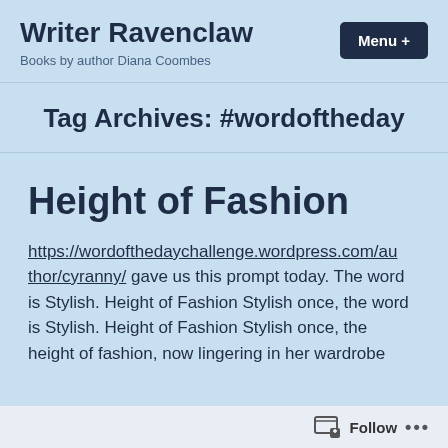Writer Ravenclaw — Books by author Diana Coombes
Tag Archives: #wordoftheday
Height of Fashion
https://wordofthedaychallenge.wordpress.com/author/cyranny/ gave us this prompt today. The word is Stylish. Height of Fashion Stylish once, the height of fashion, now lingering in her wardrobe
Follow ...